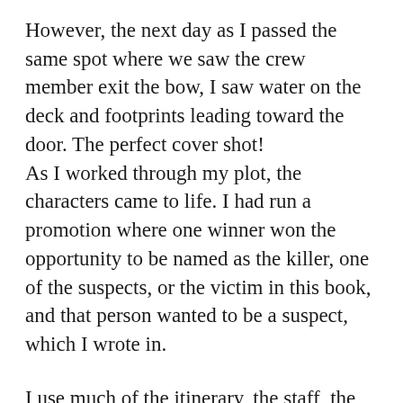However, the next day as I passed the same spot where we saw the crew member exit the bow, I saw water on the deck and footprints leading toward the door. The perfect cover shot! As I worked through my plot, the characters came to life. I had run a promotion where one winner won the opportunity to be named as the killer, one of the suspects, or the victim in this book, and that person wanted to be a suspect, which I wrote in.
I use much of the itinerary, the staff, the crew, and the events from our cruise as backdrop for the mystery, changing some names but leaving others intact. I've had help in research from a cruise ship law attorney, and from a man overboard detection system technician.